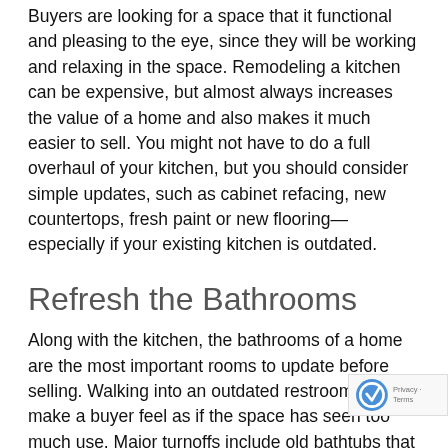Buyers are looking for a space that it functional and pleasing to the eye, since they will be working and relaxing in the space. Remodeling a kitchen can be expensive, but almost always increases the value of a home and also makes it much easier to sell. You might not have to do a full overhaul of your kitchen, but you should consider simple updates, such as cabinet refacing, new countertops, fresh paint or new flooring—especially if your existing kitchen is outdated.
Refresh the Bathrooms
Along with the kitchen, the bathrooms of a home are the most important rooms to update before selling. Walking into an outdated restroom can make a buyer feel as if the space has seen too much use. Major turnoffs include old bathtubs that have obvious caulk that needs to be redone, rusty or peeling f... and shower heads, flooring that is damaged or a... strange color palette. Refresh your bathroom before...